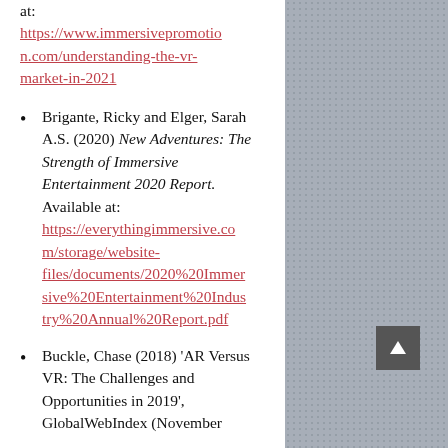Available at: https://www.immersivepromotion.com/understanding-the-vr-market-in-2021
Brigante, Ricky and Elger, Sarah A.S. (2020) New Adventures: The Strength of Immersive Entertainment 2020 Report. Available at: https://everythingimmersive.com/storage/website-files/documents/2020%20Immersive%20Entertainment%20Industry%20Annual%20Report.pdf
Buckle, Chase (2018) 'AR Versus VR: The Challenges and Opportunities in 2019', GlobalWebIndex (November